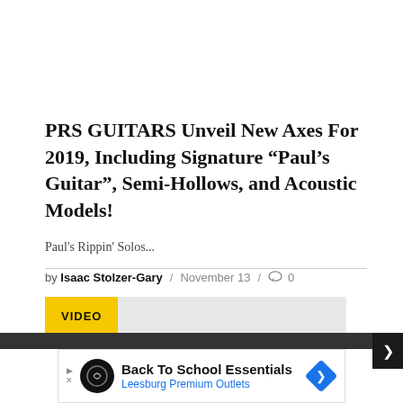PRS GUITARS Unveil New Axes For 2019, Including Signature “Paul’s Guitar”, Semi-Hollows, and Acoustic Models!
Paul's Rippin' Solos...
by Isaac Stolzer-Gary / November 13 / 0
[Figure (other): VIDEO label bar with yellow background and grey bar extending to right]
[Figure (other): Advertisement banner: Back To School Essentials, Leesburg Premium Outlets]